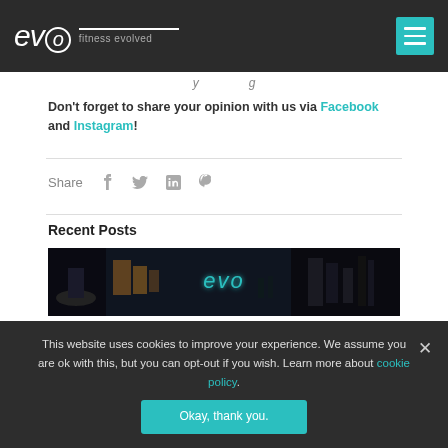evo fitness evolved
Don't forget to share your opinion with us via Facebook and Instagram!
Share
Recent Posts
[Figure (photo): A dark gym interior with a teal neon 'evo' sign glowing in the background, gym equipment visible.]
This website uses cookies to improve your experience. We assume you are ok with this, but you can opt-out if you wish. Learn more about cookie policy.